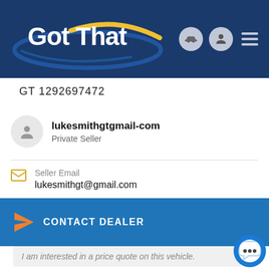[Figure (logo): Got That website logo — white bold text 'Got That' on dark navy background with blue and yellow ellipse swoosh design, with car icon, person icon, and hamburger menu icons on the right]
GT 1292697472
lukesmithgtgmail-com
Private Seller
Seller Email
lukesmithgt@gmail.com
CONTACT DEALER
I am interested in a price quote on this vehicle.